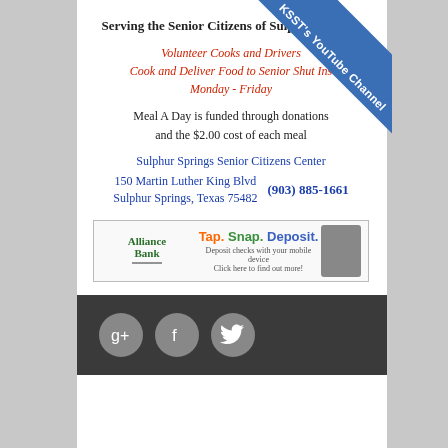Serving the Senior Citizens of Sulphur Springs
Volunteer Cooks and Drivers
Cook and Deliver Food to Senior Shut Ins
Monday - Friday
Meal A Day is funded through donations and the $2.00 cost of each meal
Sulphur Springs Senior Citizens Center
150 Martin Luther King Blvd
Sulphur Springs, Texas 75482
(903) 885-1661
[Figure (other): Alliance Bank advertisement: Tap. Snap. Deposit. - Deposit checks with your mobile device. Click here to find out more!]
[Figure (other): KSST's YouTube Channel ribbon banner in blue across top-right corner]
[Figure (other): Social media icons: Google+, Facebook, Twitter on dark bar]